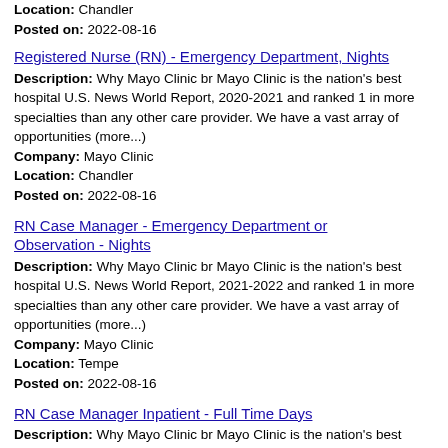Location: Chandler
Posted on: 2022-08-16
Registered Nurse (RN) - Emergency Department, Nights
Description: Why Mayo Clinic br Mayo Clinic is the nation's best hospital U.S. News World Report, 2020-2021 and ranked 1 in more specialties than any other care provider. We have a vast array of opportunities (more...)
Company: Mayo Clinic
Location: Chandler
Posted on: 2022-08-16
RN Case Manager - Emergency Department or Observation - Nights
Description: Why Mayo Clinic br Mayo Clinic is the nation's best hospital U.S. News World Report, 2021-2022 and ranked 1 in more specialties than any other care provider. We have a vast array of opportunities (more...)
Company: Mayo Clinic
Location: Tempe
Posted on: 2022-08-16
RN Case Manager Inpatient - Full Time Days
Description: Why Mayo Clinic br Mayo Clinic is the nation's best hospital U.S. News World Report, 2021-2022 and ranked 1 in more specialties than any other care provider. We have a vast array of opportunities (more...)
Company: Mayo Clinic